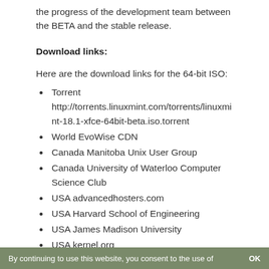the progress of the development team between the BETA and the stable release.
Download links:
Here are the download links for the 64-bit ISO:
Torrent http://torrents.linuxmint.com/torrents/linuxmint-18.1-xfce-64bit-beta.iso.torrent
World EvoWise CDN
Canada Manitoba Unix User Group
Canada University of Waterloo Computer Science Club
USA advancedhosters.com
USA Harvard School of Engineering
USA James Madison University
USA kernel.org
By continuing to use this website, you consent to the use of   OK